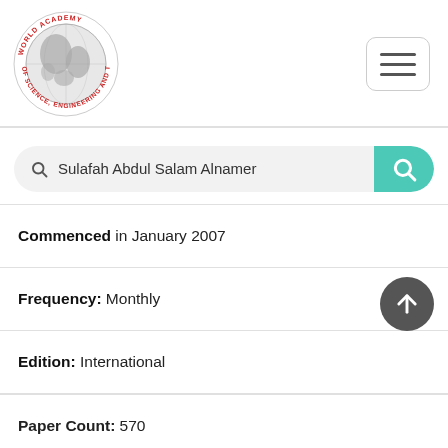[Figure (logo): World Academy of Science, Engineering and Technology circular logo with globe]
Sulafah Abdul Salam Alnamer
Commenced in January 2007
Frequency: Monthly
Edition: International
Paper Count: 570